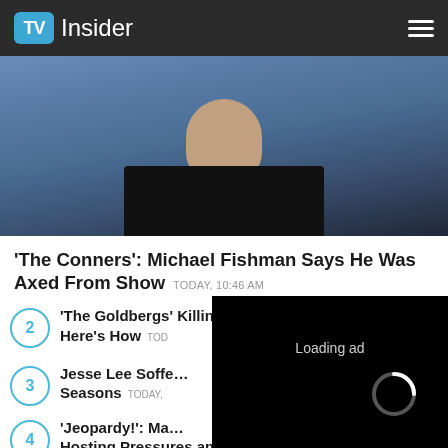TV Insider
[Figure (photo): Person in black outfit with blue geometric background, cropped to chest/face area]
'The Conners': Michael Fishman Says He Was Axed From Show  TODAY, 10:46 AM
2  'The Goldbergs' Killing Off Jeff Garlin's Murray — Here's How  TODAY, ...
3  Jesse Lee Soffe...  Seasons  TODAY, ...
4  'Jeopardy!': Ma...  Hosting Pressures and Negative Fan...
[Figure (screenshot): Loading ad overlay (black box) with spinner, pause button, fullscreen button, and mute button]